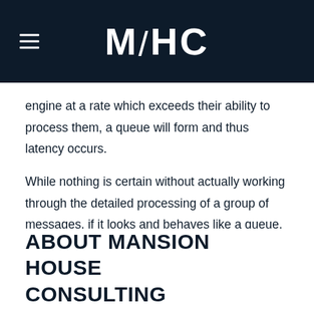MHC
engine at a rate which exceeds their ability to process them, a queue will form and thus latency occurs.
While nothing is certain without actually working through the detailed processing of a group of messages, if it looks and behaves like a queue, it probably is a queue.
ABOUT MANSION HOUSE CONSULTING